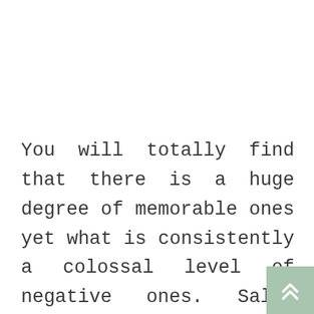You will totally find that there is a huge degree of memorable ones yet what is consistently a colossal level of negative ones. Sales that you look at each site that you consider guaranteeing that they can offer you what you need. Try to discover objectives that consider the PC games and will assist you with starting the distant chance that you